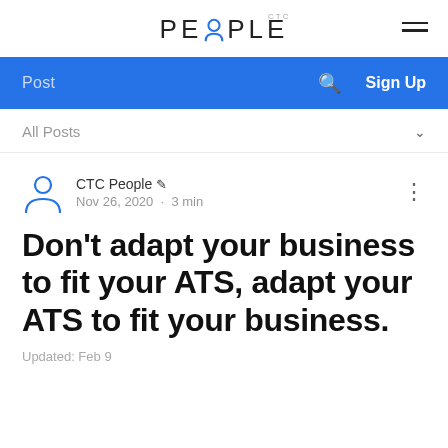[Figure (logo): CTC People logo with stylized person icon replacing the 'O' in PEOPLE, with CTC text above]
[Figure (illustration): Hamburger menu icon (three horizontal lines)]
[Figure (screenshot): Blue navigation bar with Post label, search icon, and Sign Up button]
All Posts
CTC People ✏ Nov 26, 2020 · 3 min
Don't adapt your business to fit your ATS, adapt your ATS to fit your business.
Updated: Feb 9